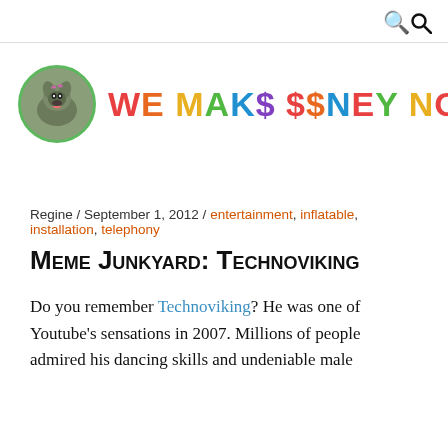🔍
[Figure (logo): We Make $Money Not Art blog logo with circular dog photo and colorful rainbow lettering 'WE MAK$ $$NEY NOT ART']
Regine / September 1, 2012 / entertainment, inflatable, installation, telephony
Meme Junkyard: Technoviking
Do you remember Technoviking? He was one of Youtube's sensations in 2007. Millions of people admired his dancing skills and undeniable male